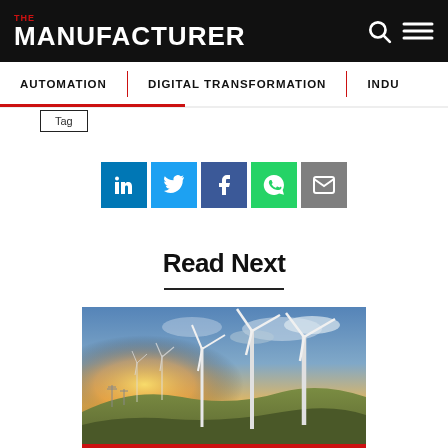THE MANUFACTURER
AUTOMATION | DIGITAL TRANSFORMATION | INDU...
[Figure (screenshot): Social sharing buttons: LinkedIn (blue), Twitter (light blue), Facebook (dark blue), WhatsApp (green), Email (grey)]
Read Next
[Figure (photo): Wind turbines on a hillside at sunset with dramatic orange and blue sky]